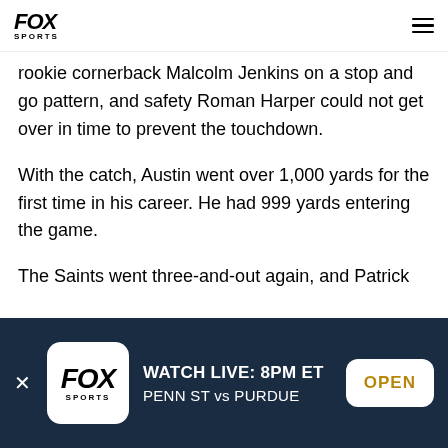FOX SPORTS
rookie cornerback Malcolm Jenkins on a stop and go pattern, and safety Roman Harper could not get over in time to prevent the touchdown.
With the catch, Austin went over 1,000 yards for the first time in his career. He had 999 yards entering the game.
The Saints went three-and-out again, and Patrick
[Figure (screenshot): Fox Sports app banner ad: WATCH LIVE: 8PM ET — PENN ST vs PURDUE, with OPEN button]